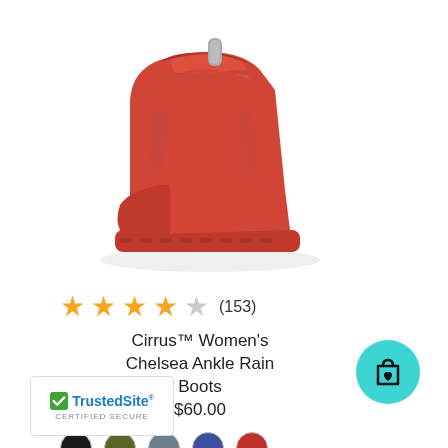[Figure (photo): Red rubber Chelsea ankle rain boot, matte finish, shown from side angle on white background]
★★★★☆ (153)
Cirrus™ Women's Chelsea Ankle Rain Boots
$60.00
[Figure (illustration): Five color swatches: black, olive/dark green, slate gray, navy blue, red]
[Figure (logo): TrustedSite CERTIFIED SECURE badge with green checkmark]
[Figure (illustration): Teal circular shopping cart with heart icon button]